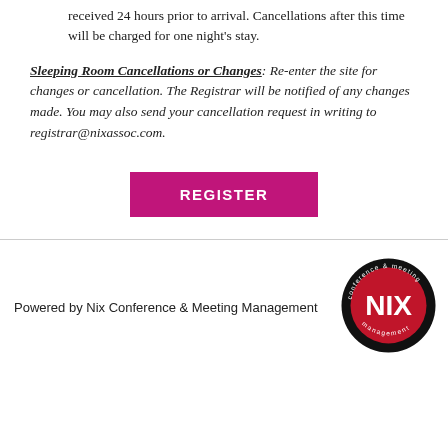The hotel will honor sleeping room cancellations received 24 hours prior to arrival. Cancellations after this time will be charged for one night's stay.
Sleeping Room Cancellations or Changes: Re-enter the site for changes or cancellation. The Registrar will be notified of any changes made. You may also send your cancellation request in writing to registrar@nixassoc.com.
[Figure (other): Pink/magenta REGISTER button]
[Figure (logo): Nix Conference & Meeting Management circular logo with red background and NIX text]
Powered by Nix Conference & Meeting Management